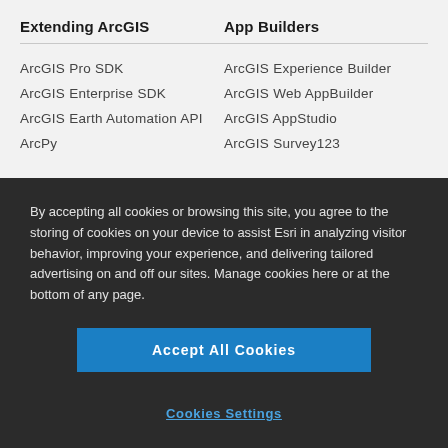Extending ArcGIS
ArcGIS Pro SDK
ArcGIS Enterprise SDK
ArcGIS Earth Automation API
ArcPy
App Builders
ArcGIS Experience Builder
ArcGIS Web AppBuilder
ArcGIS AppStudio
ArcGIS Survey123
By accepting all cookies or browsing this site, you agree to the storing of cookies on your device to assist Esri in analyzing visitor behavior, improving your experience, and delivering tailored advertising on and off our sites. Manage cookies here or at the bottom of any page.
Accept All Cookies
Cookies Settings